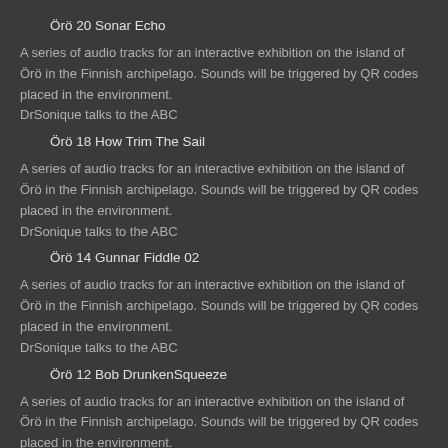Örö 20 Sonar Echo
A series of audio tracks for an interactive exhibition on the island of Örö in the Finnish archipelago. Sounds will be triggered by QR codes placed in the environment.
DrSonique talks to the ABC
Örö 18 How Trim The Sail
A series of audio tracks for an interactive exhibition on the island of Örö in the Finnish archipelago. Sounds will be triggered by QR codes placed in the environment.
DrSonique talks to the ABC
Örö 14 Gunnar Fiddle 02
A series of audio tracks for an interactive exhibition on the island of Örö in the Finnish archipelago. Sounds will be triggered by QR codes placed in the environment.
DrSonique talks to the ABC
Örö 12 Bob DrunkenSqueeze
A series of audio tracks for an interactive exhibition on the island of Örö in the Finnish archipelago. Sounds will be triggered by QR codes placed in the environment.